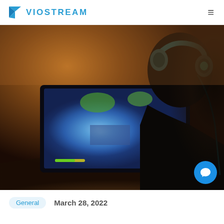VIOSTREAM
[Figure (photo): Person wearing gaming headset seen from behind, facing a TV/monitor displaying a colorful video game (appears to be Fortnite), photographed in a dark room with warm ambient lighting]
General   March 28, 2022